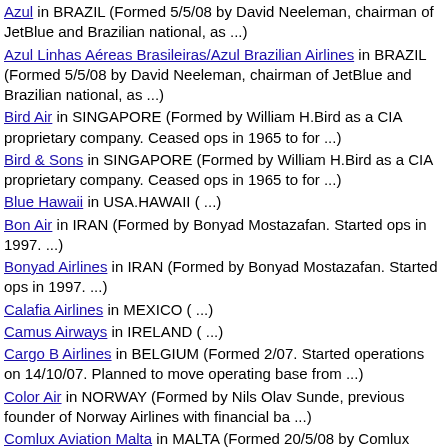Azul in BRAZIL (Formed 5/5/08 by David Neeleman, chairman of JetBlue and Brazilian national, as ...)
Azul Linhas Aéreas Brasileiras/Azul Brazilian Airlines in BRAZIL (Formed 5/5/08 by David Neeleman, chairman of JetBlue and Brazilian national, as ...)
Bird Air in SINGAPORE (Formed by William H.Bird as a CIA proprietary company. Ceased ops in 1965 to for ...)
Bird & Sons in SINGAPORE (Formed by William H.Bird as a CIA proprietary company. Ceased ops in 1965 to for ...)
Blue Hawaii in USA.HAWAII ( ...)
Bon Air in IRAN (Formed by Bonyad Mostazafan. Started ops in 1997. ...)
Bonyad Airlines in IRAN (Formed by Bonyad Mostazafan. Started ops in 1997. ...)
Calafia Airlines in MEXICO ( ...)
Camus Airways in IRELAND ( ...)
Cargo B Airlines in BELGIUM (Formed 2/07. Started operations on 14/10/07. Planned to move operating base from ...)
Color Air in NORWAY (Formed by Nils Olav Sunde, previous founder of Norway Airlines with financial ba ...)
Comlux Aviation Malta in MALTA (Formed 20/5/08 by Comlux Aviation. ...)
Congo Airlines in CONGO (DEMOCRATIC REPUBLIC) (Renamed 1/12/00 to Hewa Bora. ...)
CAL in CONGO (DEMOCRATIC REPUBLIC) (Renamed 1/12/00 t...